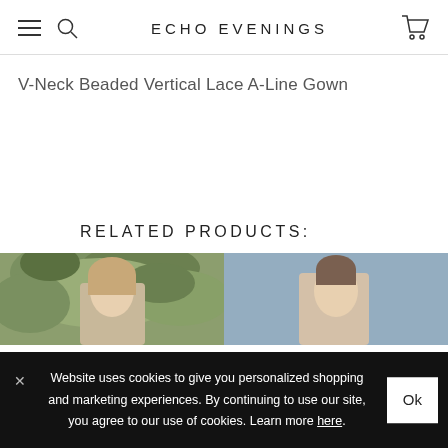ECHO EVENINGS
V-Neck Beaded Vertical Lace A-Line Gown
RELATED PRODUCTS:
[Figure (photo): Two product photos side by side showing models wearing gowns, partially cropped]
Website uses cookies to give you personalized shopping and marketing experiences. By continuing to use our site, you agree to our use of cookies. Learn more here.